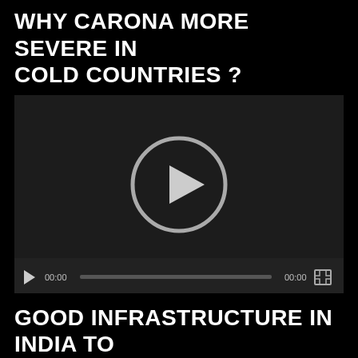WHY CARONA MORE SEVERE IN COLD COUNTRIES ?
[Figure (screenshot): Embedded video player with dark background, large centered play button (circle with triangle), video controls bar at bottom showing play button, 00:00 timestamp, progress bar, 00:00 end time, and fullscreen button.]
GOOD INFRASTRUCTURE IN INDIA TO FIGHT CARONA
[Figure (screenshot): Partial view of a second embedded video player with dark background, partially visible at bottom of page.]